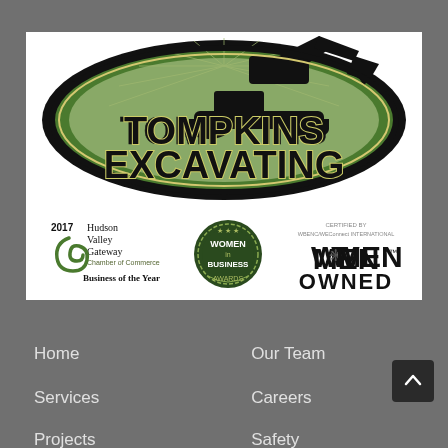[Figure (logo): Tompkins Excavating logo with green oval background and excavator silhouette, plus three certification badges: 2017 Hudson Valley Gateway Chamber of Commerce Business of the Year, Women in Business Awards, and Women Owned certification]
Home
Our Team
Services
Careers
Projects
Safety